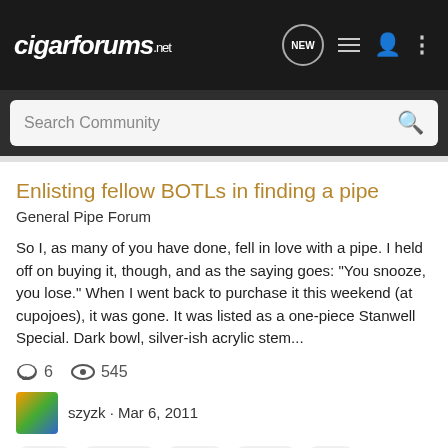cigarforums.net
Search Community
Enlisting fellow BOTLs in finding a pipe
General Pipe Forum
So I, as many of you have done, fell in love with a pipe. I held off on buying it, though, and as the saying goes: "You snooze, you lose." When I went back to purchase it this weekend (at cupojoes), it was gone. It was listed as a one-piece Stanwell Special. Dark bowl, silver-ish acrylic stem...
6  545
szyzk · Mar 6, 2011
botls  enlisting  fellow  finding  pipe
PLEASE MY BOTLs
General Cigar Discussion